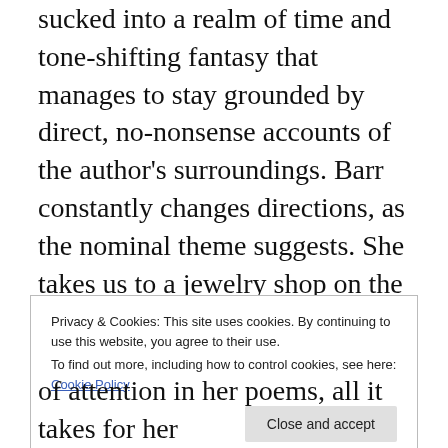sucked into a realm of time and tone-shifting fantasy that manages to stay grounded by direct, no-nonsense accounts of the author's surroundings. Barr constantly changes directions, as the nominal theme suggests. She takes us to a jewelry shop on the corner of Al Muezz in Egypt, to the Golden Moon Casino in Mississippi, and to a nightclub where a jazz band, “hunts music that weaves itself through air.” This is just a small example of how far the reader mentally travels when reading
Privacy & Cookies: This site uses cookies. By continuing to use this website, you agree to their use.
To find out more, including how to control cookies, see here: Cookie Policy
of attention in her poems, all it takes for her